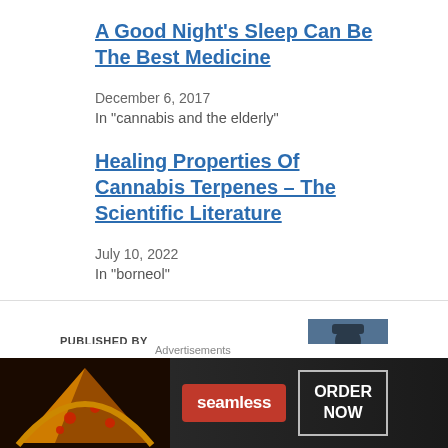A Good Night's Sleep Can Be The Best Medicine
December 6, 2017
In "cannabis and the elderly"
Healing Properties Of Cannabis Terpenes – The Scientific Literature
July 10, 2022
In "borneol"
PUBLISHED BY
panaceachronicles
[Figure (photo): Author avatar photo of panaceachronicles blogger]
When I was a child I moved around the world with my
Advertisements
[Figure (screenshot): Seamless food delivery advertisement banner with pizza image and ORDER NOW button]